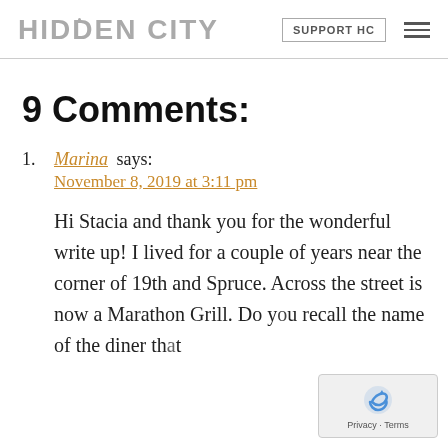HIDDEN CITY | SUPPORT HC
9 Comments:
1. Marina says: November 8, 2019 at 3:11 pm — Hi Stacia and thank you for the wonderful write up! I lived for a couple of years near the corner of 19th and Spruce. Across the street is now a Marathon Grill. Do you recall the name of the diner that